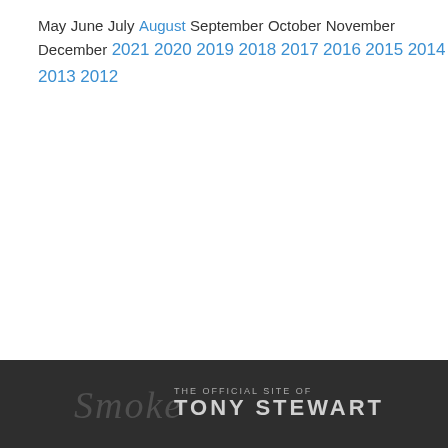May
June
July
August
September
October
November
December
2021
2020
2019
2018
2017
2016
2015
2014
2013
2012
Smoke — The Official Site of Tony Stewart